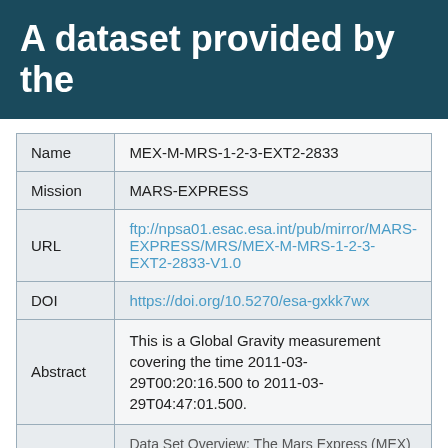A dataset provided by the
| Field | Value |
| --- | --- |
| Name | MEX-M-MRS-1-2-3-EXT2-2833 |
| Mission | MARS-EXPRESS |
| URL | ftp://npsa01.esac.esa.int/pub/mirror/MARS-EXPRESS/MRS/MEX-M-MRS-1-2-3-EXT2-2833-V1.0 |
| DOI | https://doi.org/10.5270/esa-gxkk7wx |
| Abstract | This is a Global Gravity measurement covering the time 2011-03-29T00:20:16.500 to 2011-03-29T04:47:01.500. |
|  | Data Set Overview: The Mars Express (MEX) |